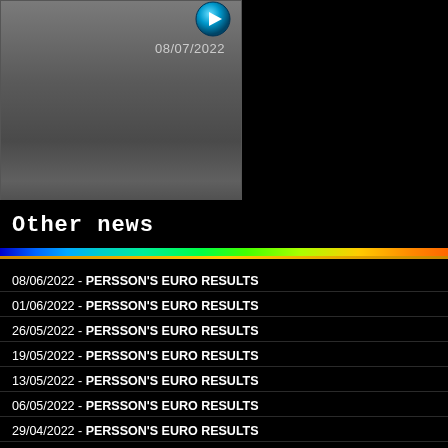[Figure (screenshot): Two video thumbnails side by side with dark gray gradient backgrounds. Left thumbnail shows a play button icon and date 08/07/2022. Right thumbnail is blank gray.]
Other news
08/06/2022 - PERSSON'S EURO RESULTS
01/06/2022 - PERSSON'S EURO RESULTS
26/05/2022 - PERSSON'S EURO RESULTS
19/05/2022 - PERSSON'S EURO RESULTS
13/05/2022 - PERSSON'S EURO RESULTS
06/05/2022 - PERSSON'S EURO RESULTS
29/04/2022 - PERSSON'S EURO RESULTS
21/04/2022 - PERSSON'S EURO RESULTS
14/04/2022 - PERSSON'S EURO RESULTS
07/04/2022 - PERSSON'S EURO RESULTS